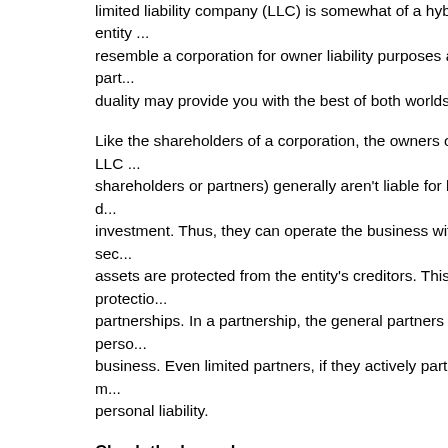limited liability company (LLC) is somewhat of a hybrid entity ... resemble a corporation for owner liability purposes and a part... duality may provide you with the best of both worlds.
Like the shareholders of a corporation, the owners of an LLC (called shareholders or partners) generally aren't liable for business d... investment. Thus, they can operate the business with the sec... assets are protected from the entity's creditors. This protectio... partnerships. In a partnership, the general partners are perso... business. Even limited partners, if they actively participate in m... personal liability.
Check-the-box rules
LLC owners can elect under the check-the-box rules to have t... federal tax purposes. This can provide a number of important... partnership earnings aren't subject to a ... x. Inste... in proportion to the owners' respective i ... its, and... individual returns and are taxed only once. To the extent the i... qualified business income, you'll be eligible to take the Sectio... subject to various limitations.
In addition, since you're actively managing the business, you... return your ratable shares of any losses the business generat... shelter other income that you (and your spouse, if you're marr...